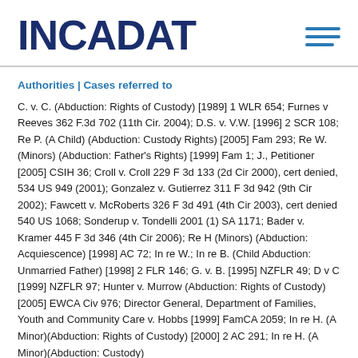INCADAT
Authorities | Cases referred to
C. v. C. (Abduction: Rights of Custody) [1989] 1 WLR 654; Furnes v Reeves 362 F.3d 702 (11th Cir. 2004); D.S. v. V.W. [1996] 2 SCR 108; Re P. (A Child) (Abduction: Custody Rights) [2005] Fam 293; Re W. (Minors) (Abduction: Father's Rights) [1999] Fam 1; J., Petitioner [2005] CSIH 36; Croll v. Croll 229 F 3d 133 (2d Cir 2000), cert denied, 534 US 949 (2001); Gonzalez v. Gutierrez 311 F 3d 942 (9th Cir 2002); Fawcett v. McRoberts 326 F 3d 491 (4th Cir 2003), cert denied 540 US 1068; Sonderup v. Tondelli 2001 (1) SA 1171; Bader v. Kramer 445 F 3d 346 (4th Cir 2006); Re H (Minors) (Abduction: Acquiescence) [1998] AC 72; In re W.; In re B. (Child Abduction: Unmarried Father) [1998] 2 FLR 146; G. v. B. [1995] NZFLR 49; D v C [1999] NZFLR 97; Hunter v. Murrow (Abduction: Rights of Custody) [2005] EWCA Civ 976; Director General, Department of Families, Youth and Community Care v. Hobbs [1999] FamCA 2059; In re H. (A Minor)(Abduction: Rights of Custody) [2000] 2 AC 291; In re H. (A Minor)(Abduction: Custody)...